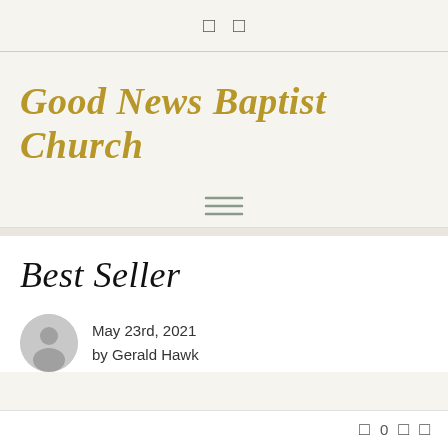[ ] [ ]
Good News Baptist Church
[Figure (other): Hamburger menu icon with three horizontal lines]
Best Seller
May 23rd, 2021
by Gerald Hawk
[ ] 0 [ ] [ ]